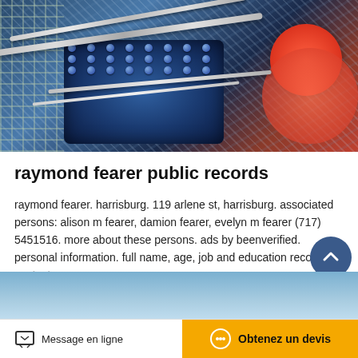[Figure (photo): Industrial/mechanical photo showing metal pipes, gears, and a blue mechanical component with studs against a dark background with red/orange elements]
raymond fearer public records
raymond fearer. harrisburg. 119 arlene st, harrisburg. associated persons: alison m fearer, damion fearer, evelyn m fearer (717) 5451516. more about these persons. ads by beenverified. personal information. full name, age, job and education records. contact…
[Figure (other): Orange rounded button labeled 'Dernière Offre']
Message en ligne   Obtenez un devis